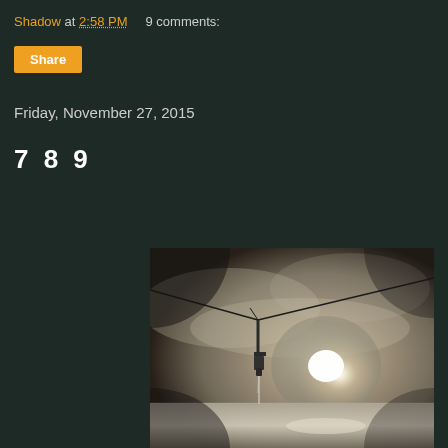Shadow at 2:58 PM    9 comments:
Share
Friday, November 27, 2015
7 8 9
[Figure (photo): Black and white photograph of a water tap/faucet mounted on wires against a misty sky with a bright sun in the background, water dripping from the faucet onto reflective water below.]